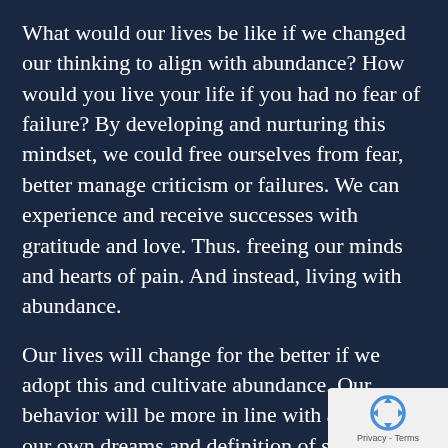What would our lives be like if we changed our thinking to align with abundance? How would you live your life if you had no fear of failure? By developing and nurturing this mindset, we could free ourselves from fear, better manage criticism or failures. We can experience and receive successes with gratitude and love. Thus. freeing our minds and hearts of pain. And instead, living with abundance.
Our lives will change for the better if we adopt this and cultivate abundance. Our behavior will be more in line with achieving our own dreams and definition of success. Here are ways you can cultivate abundance and the mindset in your life today.
Use Your Energy Wisely
Do you know anyone who spends a lot of time energy competing with others or putting peop down verbally because they fear that that person is